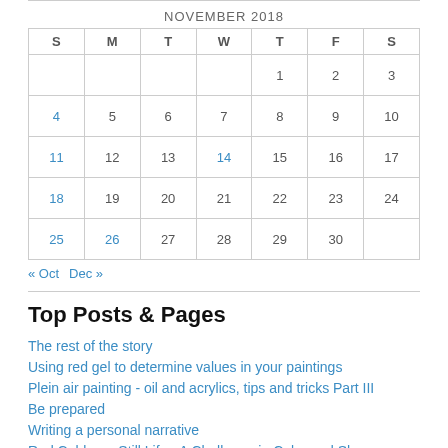| S | M | T | W | T | F | S |
| --- | --- | --- | --- | --- | --- | --- |
|  |  |  |  | 1 | 2 | 3 |
| 4 | 5 | 6 | 7 | 8 | 9 | 10 |
| 11 | 12 | 13 | 14 | 15 | 16 | 17 |
| 18 | 19 | 20 | 21 | 22 | 23 | 24 |
| 25 | 26 | 27 | 28 | 29 | 30 |  |
« Oct   Dec »
Top Posts & Pages
The rest of the story
Using red gel to determine values in your paintings
Plein air painting - oil and acrylics, tips and tricks Part III
Be prepared
Writing a personal narrative
Red Cabbage Still Life - A Challenge in Color and Shape